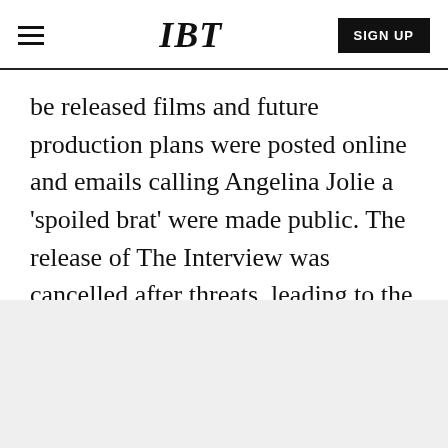IBT | SIGN UP
be released films and future production plans were posted online and emails calling Angelina Jolie a 'spoiled brat' were made public. The release of The Interview was cancelled after threats, leading to the suspicion North Korea was behind the attack. But to this day, it is still unclear who was really responsible.